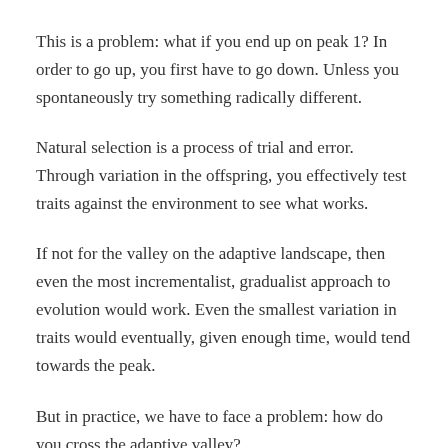This is a problem: what if you end up on peak 1? In order to go up, you first have to go down. Unless you spontaneously try something radically different.
Natural selection is a process of trial and error. Through variation in the offspring, you effectively test traits against the environment to see what works.
If not for the valley on the adaptive landscape, then even the most incrementalist, gradualist approach to evolution would work. Even the smallest variation in traits would eventually, given enough time, would tend towards the peak.
But in practice, we have to face a problem: how do you cross the adaptive valley?